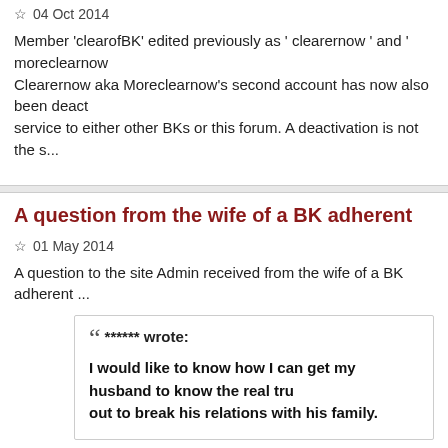★ 04 Oct 2014
Member 'clearofBK' edited previously as ' clearernow ' and ' moreclearnow... Clearernow aka Moreclearnow's second account has now also been deact... service to either other BKs or this forum. A deactivation is not the s...
A question from the wife of a BK adherent
★ 01 May 2014
A question to the site Admin received from the wife of a BK adherent ...
****** wrote:
I would like to know how I can get my husband to know the real tru... out to break his relations with his family.
"High Alert Regarding a anti brahmakumaris site"
★ 14 Sep 2013
Brahma_Kumaris_secrecy.jpg The following email was received from a co...